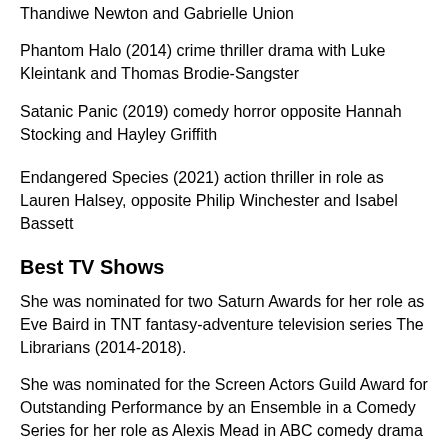Thandiwe Newton and Gabrielle Union
Phantom Halo (2014) crime thriller drama with Luke Kleintank and Thomas Brodie-Sangster
Satanic Panic (2019) comedy horror opposite Hannah Stocking and Hayley Griffith
Endangered Species (2021) action thriller in role as Lauren Halsey, opposite Philip Winchester and Isabel Bassett
Best TV Shows
She was nominated for two Saturn Awards for her role as Eve Baird in TNT fantasy-adventure television series The Librarians (2014-2018).
She was nominated for the Screen Actors Guild Award for Outstanding Performance by an Ensemble in a Comedy Series for her role as Alexis Mead in ABC comedy drama